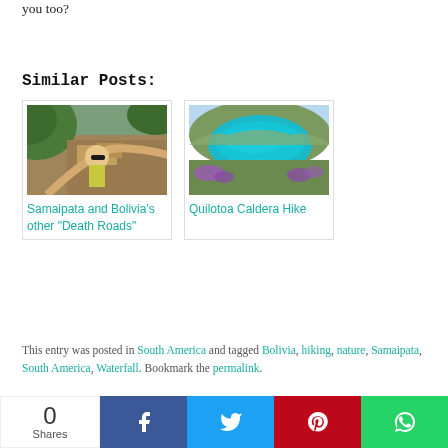you too?
Similar Posts:
[Figure (photo): Photo of a person with sunglasses on a mountain trail with rocky terrain and green hillsides — link to 'Samaipata and Bolivia's other "Death Roads"']
[Figure (photo): Aerial photo of the Quilotoa caldera lake — a turquoise volcanic crater lake surrounded by colorful wildflower slopes — link to 'Quilotoa Caldera Hike']
This entry was posted in South America and tagged Bolivia, hiking, nature, Samaipata, South America, Waterfall. Bookmark the permalink.
0 Shares  [Facebook] [Twitter] [Pinterest] [WhatsApp]